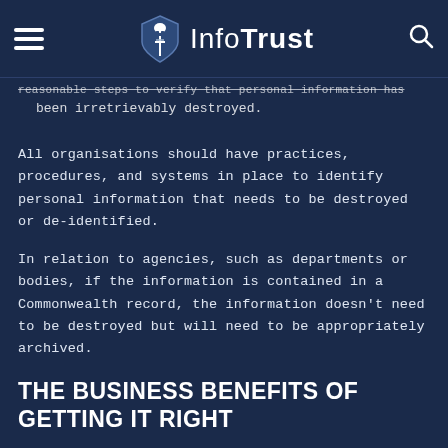InfoTrust
reasonable steps to verify that personal information has been irretrievably destroyed.
All organisations should have practices, procedures, and systems in place to identify personal information that needs to be destroyed or de-identified.
In relation to agencies, such as departments or bodies, if the information is contained in a Commonwealth record, the information doesn't need to be destroyed but will need to be appropriately archived.
THE BUSINESS BENEFITS OF GETTING IT RIGHT